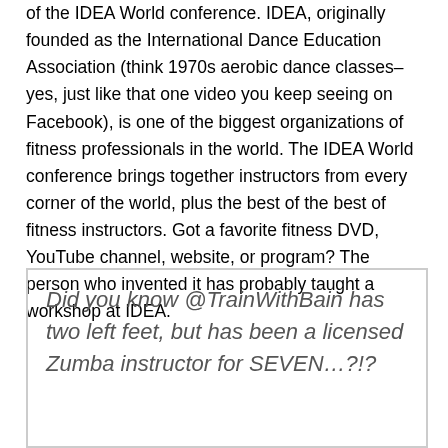of the IDEA World conference. IDEA, originally founded as the International Dance Education Association (think 1970s aerobic dance classes–yes, just like that one video you keep seeing on Facebook), is one of the biggest organizations of fitness professionals in the world. The IDEA World conference brings together instructors from every corner of the world, plus the best of the best of fitness instructors. Got a favorite fitness DVD, YouTube channel, website, or program? The person who invented it has probably taught a workshop at IDEA.
Did you know @TrainWithBain has two left feet, but has been a licensed Zumba instructor for SEVEN...?!?